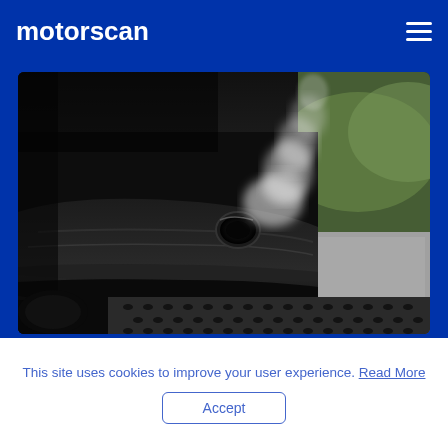motorscan
[Figure (photo): Close-up photo of a car exhaust pipe emitting white steam/smoke, with the rear bumper and underside of the car visible. A metallic grate is visible at the bottom. Background shows a blurred road and green foliage.]
This site uses cookies to improve your user experience. Read More
Accept